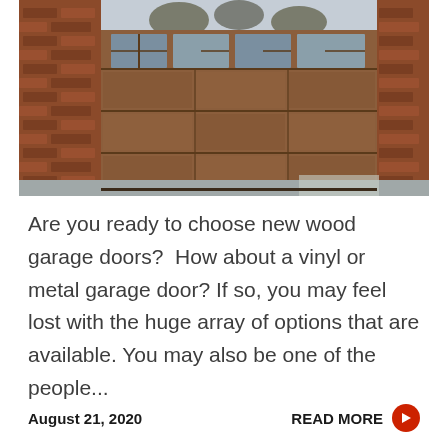[Figure (photo): Photo of a large wood-panel garage door on a brick home exterior, with windows along the top and a concrete driveway in the foreground.]
Are you ready to choose new wood garage doors?  How about a vinyl or metal garage door? If so, you may feel lost with the huge array of options that are available. You may also be one of the people...
August 21, 2020
READ MORE →